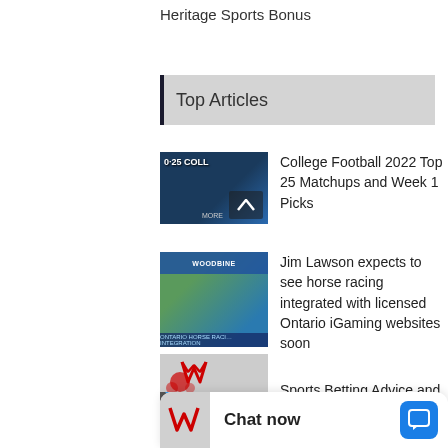Heritage Sports Bonus
Top Articles
College Football 2022 Top 25 Matchups and Week 1 Picks
Jim Lawson expects to see horse racing integrated with licensed Ontario iGaming websites soon
Sports Betting Advice and Guidelines to Win More
Chat now